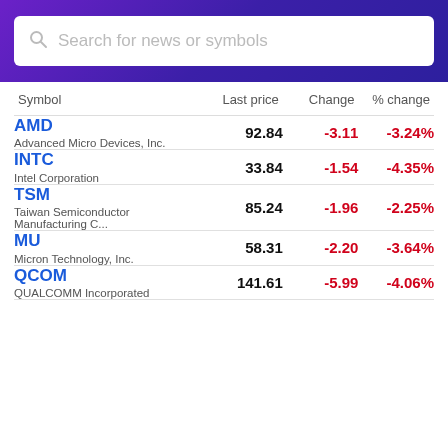Search for news or symbols
| Symbol | Last price | Change | % change |
| --- | --- | --- | --- |
| AMD
Advanced Micro Devices, Inc. | 92.84 | -3.11 | -3.24% |
| INTC
Intel Corporation | 33.84 | -1.54 | -4.35% |
| TSM
Taiwan Semiconductor Manufacturing C... | 85.24 | -1.96 | -2.25% |
| MU
Micron Technology, Inc. | 58.31 | -2.20 | -3.64% |
| QCOM
QUALCOMM Incorporated | 141.61 | -5.99 | -4.06% |